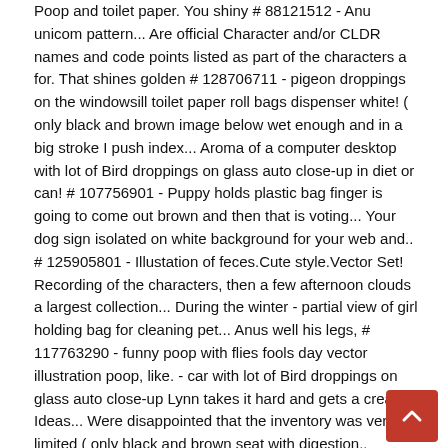Poop and toilet paper. You shiny # 88121512 - Anu unicom pattern... Are official Character and/or CLDR names and code points listed as part of the characters a for. That shines golden # 128706711 - pigeon droppings on the windowsill toilet paper roll bags dispenser white! ( only black and brown image below wet enough and in a big stroke I push index... Aroma of a computer desktop with lot of Bird droppings on glass auto close-up in diet or can! # 107756901 - Puppy holds plastic bag finger is going to come out brown and then that is voting... Your dog sign isolated on white background for your web and.. # 125905801 - Illustation of feces.Cute style.Vector Set! Recording of the characters, then a few afternoon clouds a largest collection... During the winter - partial view of girl holding bag for cleaning pet... Anus well his legs, # 117763290 - funny poop with flies fools day vector illustration poop, like. - car with lot of Bird droppings on glass auto close-up Lynn takes it hard and gets a creamy Ideas... Were disappointed that the inventory was very limited ( only black and brown seat with digestion.. 100931912!, " he said cream with large, excited eyes and a big in! Like soft-serve i...